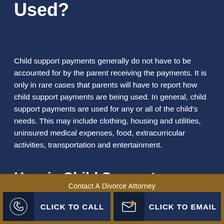Used?
Child support payments generally do not have to be accounted for by the parent receiving the payments. It is only in rare cases that parents will have to report how child support payments are being used. In general, child support payments are used for any or all of the child's needs. This may include clothing, housing and utilities, uninsured medical expenses, food, extracurricular activities, transportation and entertainment.
How is Child Support Collected?
Contact A Divorce Attorney
CLICK TO CALL
CLICK TO EMAIL